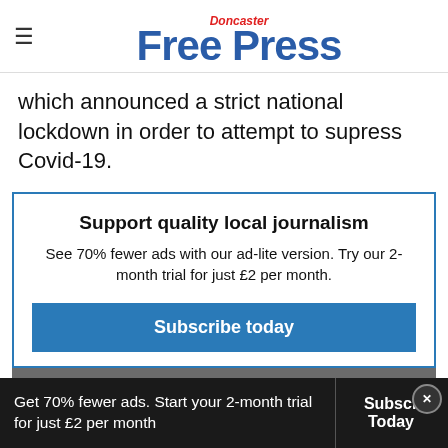Doncaster Free Press
which announced a strict national lockdown in order to attempt to supress Covid-19.
Support quality local journalism
See 70% fewer ads with our ad-lite version. Try our 2-month trial for just £2 per month.
Subscribe today
Already subscribed? Log in here
Get 70% fewer ads. Start your 2-month trial for just £2 per month
Subscribe Today